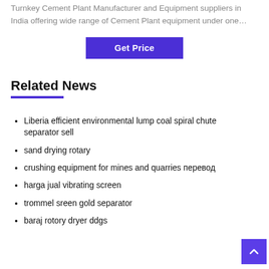Turnkey Cement Plant Manufacturer and Equipment suppliers in India offering wide range of Cement Plant equipment under one…
Get Price
Related News
Liberia efficient environmental lump coal spiral chute separator sell
sand drying rotary
crushing equipment for mines and quarries перевод
harga jual vibrating screen
trommel sreen gold separator
baraj rotory dryer ddgs